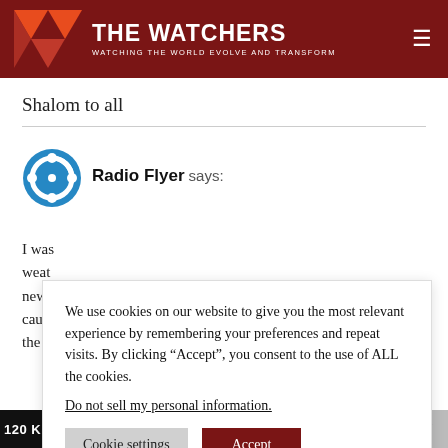THE WATCHERS — WATCHING THE WORLD EVOLVE AND TRANSFORM
Shalom to all
Radio Flyer says:
I was... weat... new n... caug... the r...
We use cookies on our website to give you the most relevant experience by remembering your preferences and repeat visits. By clicking "Accept", you consent to the use of ALL the cookies.
Do not sell my personal information.
120 KM/H) WIND SPEEDS OR HIGHER IS 0 (0 IN TROPICAL STO